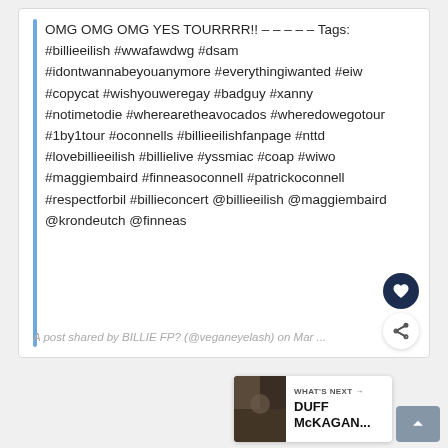OMG OMG OMG YES TOURRRR!! – – – – – Tags: #billieeilish #wwafawdwg #dsam #idontwannabeyouanymore #everythingiwanted #eiw #copycat #wishyouweregay #badguy #xanny #notimetodie #wherearetheavocados #wheredowegotour #1by1tour #oconnells #billieeilishfanpage #nttd #lovebillieeilish #billielive #yssmiac #coap #wiwo #maggiembaird #finneasoconnell #patrickoconnell #respectforbil #billieconcert @billieeilish @maggiembaird @krondeutch @finneas
A post shared by BILLIE FP? (@veganeyelash) on Mar ...
WHAT'S NEXT → DUFF McKAGAN...